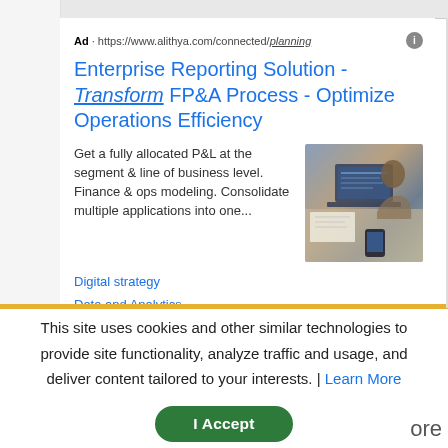Ad · https://www.alithya.com/connected/planning
Enterprise Reporting Solution - Transform FP&A Process - Optimize Operations Efficiency
Get a fully allocated P&L at the segment & line of business level. Finance & ops modeling. Consolidate multiple applications into one...
Digital strategy
Data and Analytics
This site uses cookies and other similar technologies to provide site functionality, analyze traffic and usage, and deliver content tailored to your interests. | Learn More
I Accept